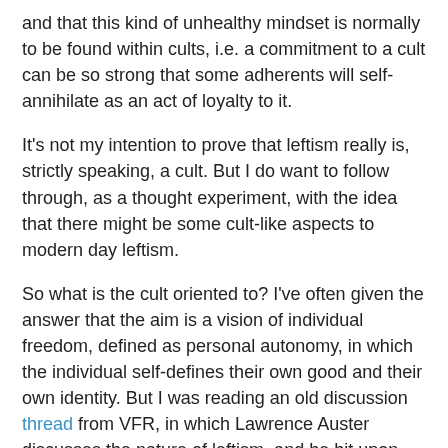and that this kind of unhealthy mindset is normally to be found within cults, i.e. a commitment to a cult can be so strong that some adherents will self-annihilate as an act of loyalty to it.
It's not my intention to prove that leftism really is, strictly speaking, a cult. But I do want to follow through, as a thought experiment, with the idea that there might be some cult-like aspects to modern day leftism.
So what is the cult oriented to? I've often given the answer that the aim is a vision of individual freedom, defined as personal autonomy, in which the individual self-defines their own good and their own identity. But I was reading an old discussion thread from VFR, in which Lawrence Auster discusses the nature of leftism, and he hit upon something that is also significant to understanding leftism:
On the right, traditional conservatives believe in “larger wholes”—the realities of nature, society, and God—of race, culture, and religion—that make us what we are. They believe in natural